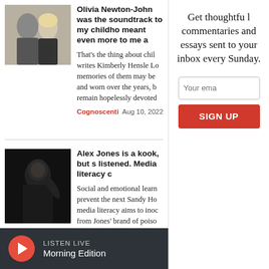[Figure (photo): Two people posing together, article thumbnail for Olivia Newton-John article]
Olivia Newton-John was the soundtrack to my childhood. She meant even more to me a
That's the thing about chil writes Kimberly Hensle Lo memories of them may be and worn over the years, b remain hopelessly devoted
Cognoscenti  Aug 10, 2022
[Figure (photo): Dark image of man, article thumbnail for Alex Jones article]
Alex Jones is a kook, but s listened. Media literacy c
Social and emotional learn prevent the next Sandy Ho media literacy aims to inoc from Jones' brand of poiso
Get thoughtful commentaries and essays sent to your inbox every Sunday.
Your ema
SIGN UP
LISTEN LIVE Morning Edition